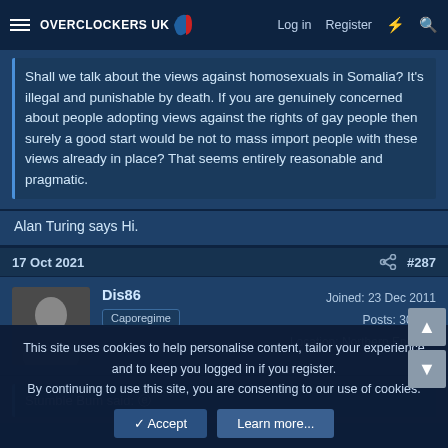Overclockers UK — Log in  Register
Shall we talk about the views against homosexuals in Somalia? It's illegal and punishable by death. If you are genuinely concerned about people adopting views against the rights of gay people then surely a good start would be not to mass import people with these views already in place? That seems entirely reasonable and pragmatic.
Alan Turing says Hi.
17 Oct 2021   #287
Dis86
Caporegime
Joined: 23 Dec 2011
Posts: 30,078
Location: Northern England
Stumble Bum said:
This site uses cookies to help personalise content, tailor your experience and to keep you logged in if you register.
By continuing to use this site, you are consenting to our use of cookies.
✓ Accept   Learn more...